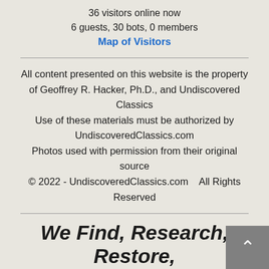36 visitors online now
6 guests, 30 bots, 0 members
Map of Visitors
All content presented on this website is the property of Geoffrey R. Hacker, Ph.D., and Undiscovered Classics
Use of these materials must be authorized by UndiscoveredClassics.com
Photos used with permission from their original source
© 2022 - UndiscoveredClassics.com    All Rights Reserved
We Find, Research, Restore, Show And Sell America's Lost Automotive Treasures